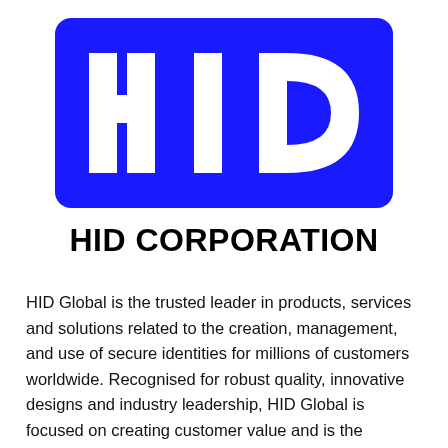[Figure (logo): HID Corporation logo: blue rounded rectangle with white bold letters H, I, D]
HID CORPORATION
HID Global is the trusted leader in products, services and solutions related to the creation, management, and use of secure identities for millions of customers worldwide. Recognised for robust quality, innovative designs and industry leadership, HID Global is focused on creating customer value and is the supplier of choice for OEMs, integrators, and developers serving a variety of markets.